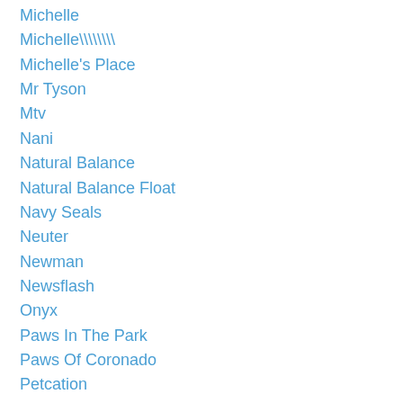Michelle
Michelle\\\\
Michelle's Place
Mr Tyson
Mtv
Nani
Natural Balance
Natural Balance Float
Navy Seals
Neuter
Newman
Newsflash
Onyx
Paws In The Park
Paws Of Coronado
Petcation
Pet Friendly Travel
Pet Oxygen Mask
Pets
Petside